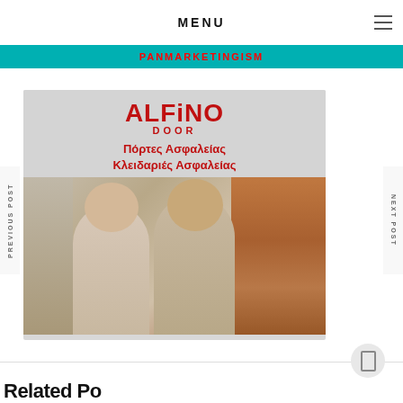MENU
[Figure (logo): Teal banner strip with pan marketing text in red bold uppercase]
PREVIOUS POST
NEXT POST
[Figure (photo): Alfino Door advertisement image: logo with ALFiNO DOOR text, Greek text Πόρτες Ασφαλείας, Κλειδαριές Ασφαλείας, and photo of man and woman by a wooden door at bottom]
Related Posts